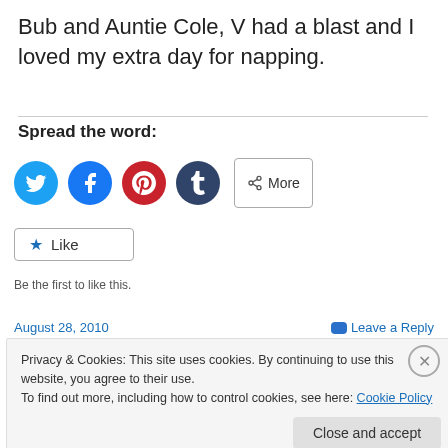Bub and Auntie Cole, V had a blast and I loved my extra day for napping.
Spread the word:
[Figure (illustration): Social sharing buttons: Twitter (blue circle), Facebook (blue circle), Pinterest (red circle), Tumblr (dark circle), and a More button]
[Figure (illustration): Like button with star icon]
Be the first to like this.
August 28, 2010
Leave a Reply
Privacy & Cookies: This site uses cookies. By continuing to use this website, you agree to their use.
To find out more, including how to control cookies, see here: Cookie Policy